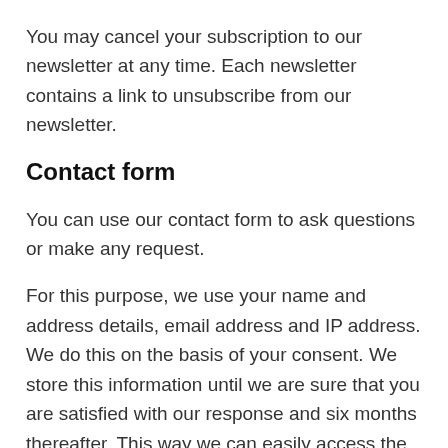You may cancel your subscription to our newsletter at any time. Each newsletter contains a link to unsubscribe from our newsletter.
Contact form
You can use our contact form to ask questions or make any request.
For this purpose, we use your name and address details, email address and IP address. We do this on the basis of your consent. We store this information until we are sure that you are satisfied with our response and six months thereafter. This way we can easily access the information in case you have any following questions and train our customer service to improve